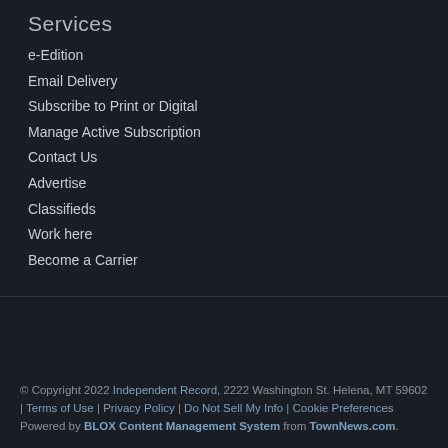Services
e-Edition
Email Delivery
Subscribe to Print or Digital
Manage Active Subscription
Contact Us
Advertise
Classifieds
Work here
Become a Carrier
© Copyright 2022 Independent Record, 2222 Washington St. Helena, MT 59602 | Terms of Use | Privacy Policy | Do Not Sell My Info | Cookie Preferences
Powered by BLOX Content Management System from TownNews.com.